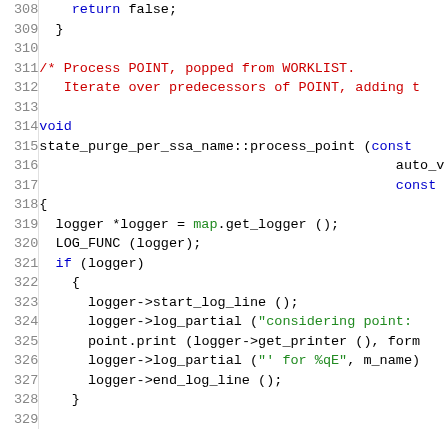[Figure (screenshot): Source code listing in a code editor showing C++ lines 308-329, with syntax highlighting: line numbers in grey, keywords in blue, comments in dark red, strings in green, identifiers in black/dark.]